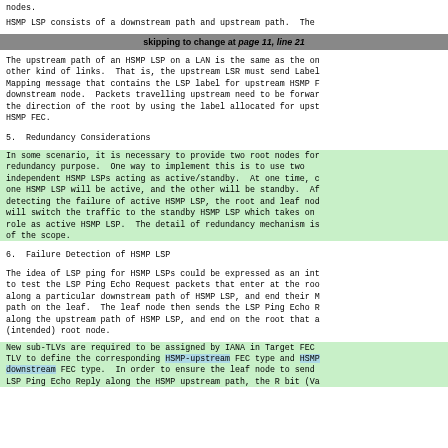nodes.
HSMP LSP consists of a downstream path and upstream path.  The
skipping to change at page 11, line 21
The upstream path of an HSMP LSP on a LAN is the same as the on other kind of links.  That is, the upstream LSR must send Label Mapping message that contains the LSP label for upstream HSMP F downstream node.  Packets travelling upstream need to be forwar the direction of the root by using the label allocated for upst HSMP FEC.
5.  Redundancy Considerations
In some scenario, it is necessary to provide two root nodes for redundancy purpose.  One way to implement this is to use two independent HSMP LSPs acting as active/standby.  At one time, c one HSMP LSP will be active, and the other will be standby.  Af detecting the failure of active HSMP LSP, the root and leaf nod will switch the traffic to the standby HSMP LSP which takes on role as active HSMP LSP.  The detail of redundancy mechanism is of the scope.
6.  Failure Detection of HSMP LSP
The idea of LSP ping for HSMP LSPs could be expressed as an int to test the LSP Ping Echo Request packets that enter at the roo along a particular downstream path of HSMP LSP, and end their M path on the leaf.  The leaf node then sends the LSP Ping Echo R along the upstream path of HSMP LSP, and end on the root that a (intended) root node.
New sub-TLVs are required to be assigned by IANA in Target FEC TLV to define the corresponding HSMP-upstream FEC type and HSMP downstream FEC type.  In order to ensure the leaf node to send LSP Ping Echo Reply along the HSMP upstream path, the R bit (Va